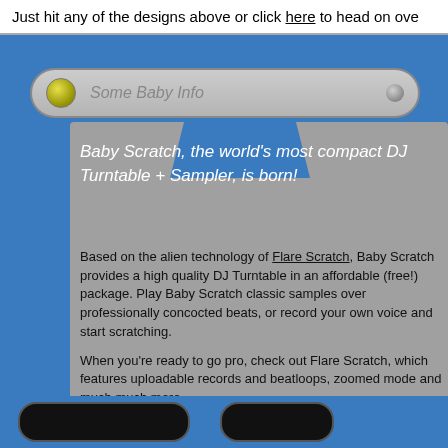Just hit any of the designs above or click here to head on ov
[Figure (screenshot): Rounded address bar / browser UI element reading 'Some Baby Info' with yellow and gray circle indicators]
Baby Scratch, the world's most compact DJ Turntable + Sampler, is born!
Based on the alien technology of Flare Scratch, Baby Scratch provides a high quality DJ Turntable in an affordable (free!) package. Play Baby Scratch classic samples over professionally concocted beats, or record your own voice and start scratching.
When you're ready to go pro, check out Flare Scratch, which features uploadable records and beatloops, zoomed mode and much much more.
[Figure (screenshot): Two dark rounded button elements at the bottom of the page]